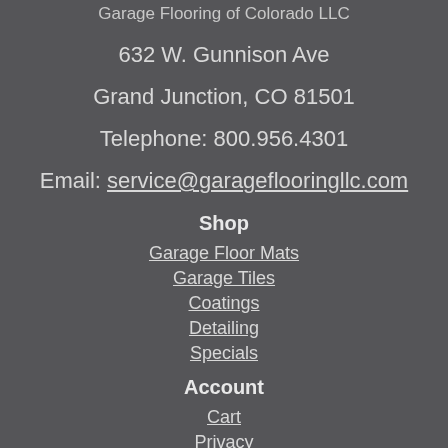Garage Flooring of Colorado LLC
632 W. Gunnison Ave
Grand Junction, CO 81501
Telephone: 800.956.4301
Email: service@garageflooringllc.com
Shop
Garage Floor Mats
Garage Tiles
Coatings
Detailing
Specials
Account
Cart
Privacy